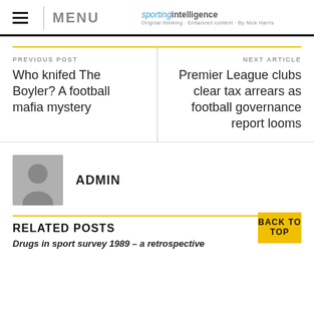MENU | sportingintelligence
PREVIOUS POST
Who knifed The Boyler? A football mafia mystery
NEXT ARTICLE
Premier League clubs clear tax arrears as football governance report looms
ADMIN
RELATED POSTS
Drugs in sport survey 1989 – a retrospective